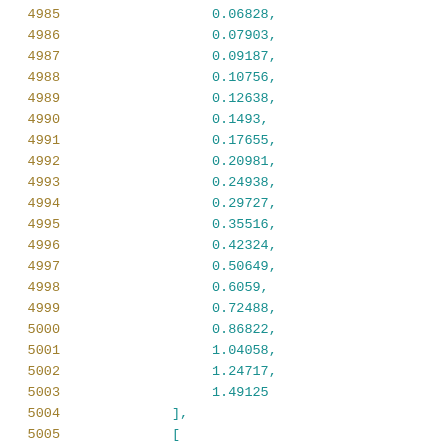4985    0.06828,
4986    0.07903,
4987    0.09187,
4988    0.10756,
4989    0.12638,
4990    0.1493,
4991    0.17655,
4992    0.20981,
4993    0.24938,
4994    0.29727,
4995    0.35516,
4996    0.42324,
4997    0.50649,
4998    0.6059,
4999    0.72488,
5000    0.86822,
5001    1.04058,
5002    1.24717,
5003    1.49125
5004    ],
5005    [
5006    0.01518...